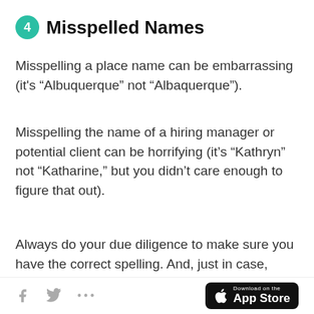4 Misspelled Names
Misspelling a place name can be embarrassing (it's “Albuquerque” not “Albaquerque”).
Misspelling the name of a hiring manager or potential client can be horrifying (it’s “Kathryn” not “Katharine,” but you didn’t care enough to figure that out).
Always do your due diligence to make sure you have the correct spelling. And, just in case, here’s how to salvage your credibility after misspelling someone’s name
Download on the App Store